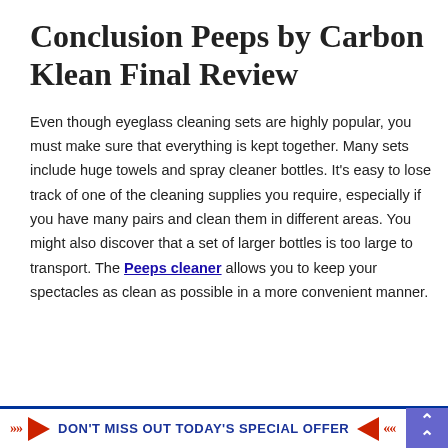Conclusion Peeps by Carbon Klean Final Review
Even though eyeglass cleaning sets are highly popular, you must make sure that everything is kept together. Many sets include huge towels and spray cleaner bottles. It's easy to lose track of one of the cleaning supplies you require, especially if you have many pairs and clean them in different areas. You might also discover that a set of larger bottles is too large to transport. The Peeps cleaner allows you to keep your spectacles as clean as possible in a more convenient manner.
DON'T MISS OUT TODAY'S SPECIAL OFFER